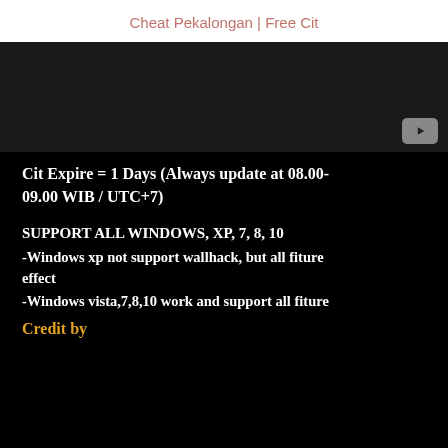Cheat Pekalongan | Free Cit
[Figure (screenshot): Dark video thumbnail with YouTube play button icon in bottom-right corner]
Cit Expire = 1 Days (Always update at 08.00-09.00 WIB / UTC+7)
SUPPORT ALL WINDOWS, XP, 7, 8, 10
-Windows xp not support wallhack, but all fiture effect
-Windows vista,7,8,10 work and support all fiture
Credit by